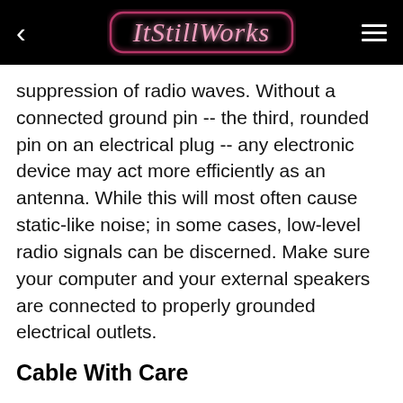ItStillWorks
suppression of radio waves. Without a connected ground pin -- the third, rounded pin on an electrical plug -- any electronic device may act more efficiently as an antenna. While this will most often cause static-like noise; in some cases, low-level radio signals can be discerned. Make sure your computer and your external speakers are connected to properly grounded electrical outlets.
Cable With Care
For those old enough to remember radio tuners, you will recall that attaching a wire to the